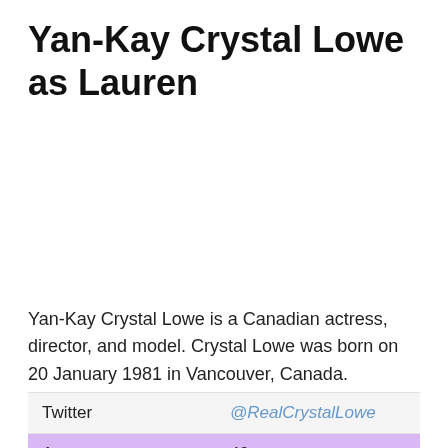Yan-Kay Crystal Lowe as Lauren
Yan-Kay Crystal Lowe is a Canadian actress, director, and model. Crystal Lowe was born on 20 January 1981 in Vancouver, Canada.
|  |  |
| --- | --- |
| Twitter | @RealCrystalLowe |
| Age | 40 years |
| Height | 1.64 |